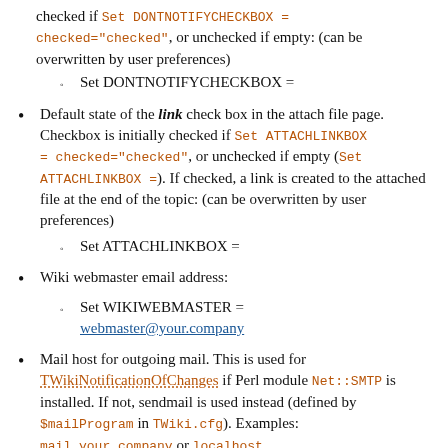checked if Set DONTNOTIFYCHECKBOX = checked="checked", or unchecked if empty: (can be overwritten by user preferences)
Set DONTNOTIFYCHECKBOX =
Default state of the link check box in the attach file page. Checkbox is initially checked if Set ATTACHLINKBOX = checked="checked", or unchecked if empty (Set ATTACHLINKBOX =). If checked, a link is created to the attached file at the end of the topic: (can be overwritten by user preferences)
Set ATTACHLINKBOX =
Wiki webmaster email address:
Set WIKIWEBMASTER = webmaster@your.company
Mail host for outgoing mail. This is used for TWikiNotificationOfChanges if Perl module Net::SMTP is installed. If not, sendmail is used instead (defined by $mailProgram in TWiki.cfg). Examples: mail.your.company or localhost
Set SMTPMAILHOST = mail